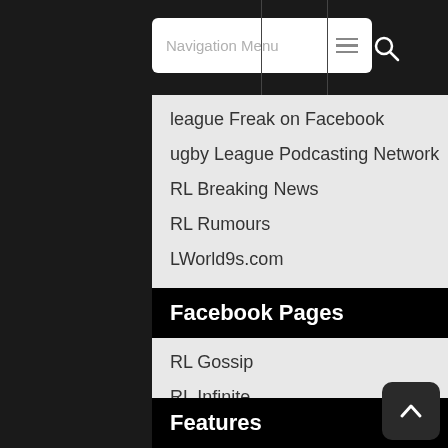Navigation Menu
League Freak on Facebook
Rugby League Podcasting Network
RL Breaking News
RL Rumours
RLWorld9s.com
Facebook Pages
RL Gossip
RL Infinite
Features